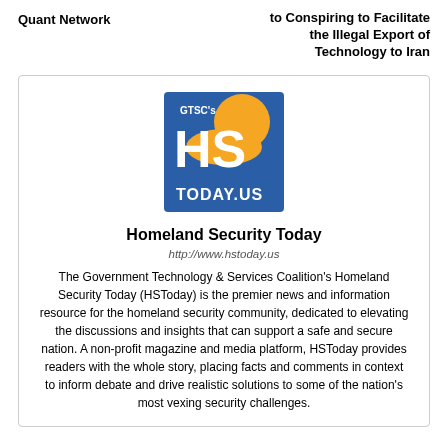Quant Network
to Conspiring to Facilitate the Illegal Export of Technology to Iran
[Figure (logo): GTSC's HS TODAY.US logo — blue square with orange sunrise and white HS letters]
Homeland Security Today
http://www.hstoday.us
The Government Technology & Services Coalition's Homeland Security Today (HSToday) is the premier news and information resource for the homeland security community, dedicated to elevating the discussions and insights that can support a safe and secure nation. A non-profit magazine and media platform, HSToday provides readers with the whole story, placing facts and comments in context to inform debate and drive realistic solutions to some of the nation's most vexing security challenges.